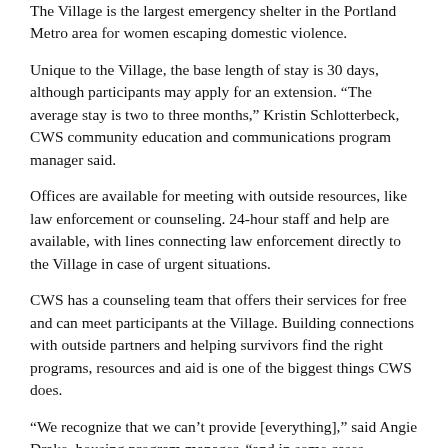The Village is the largest emergency shelter in the Portland Metro area for women escaping domestic violence.
Unique to the Village, the base length of stay is 30 days, although participants may apply for an extension. “The average stay is two to three months,” Kristin Schlotterbeck, CWS community education and communications program manager said.
Offices are available for meeting with outside resources, like law enforcement or counseling. 24-hour staff and help are available, with lines connecting law enforcement directly to the Village in case of urgent situations.
CWS has a counseling team that offers their services for free and can meet participants at the Village. Building connections with outside partners and helping survivors find the right programs, resources and aid is one of the biggest things CWS does.
“We recognize that we can’t provide [everything],” said Angie Drake, housing program manager, “and in some cases probably shouldn’t because there’s already folks out there doing fantastic work. A big part for survivors’ ongoing success and healing also includes breaking isolation which we believe is really at the core of abuse.”